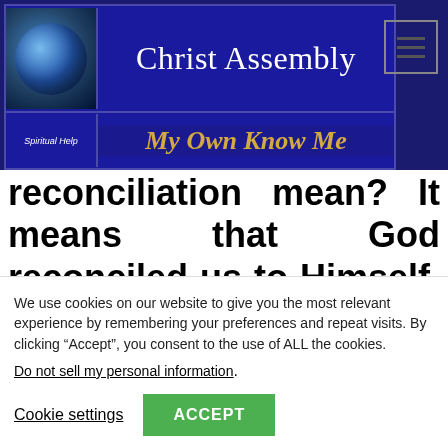[Figure (screenshot): Christ Assembly website header banner with globe icon, 'Christ Assembly' title in white serif font on dark blue background, and 'My Own Know Me' subtitle in gold italic font. A hamburger menu icon is shown in the top right corner.]
reconciliation mean? It means that God reconciled us to Himself. Notice that God took action to bring us back to Him, because we had sinned against Him and
We use cookies on our website to give you the most relevant experience by remembering your preferences and repeat visits. By clicking “Accept”, you consent to the use of ALL the cookies.
Do not sell my personal information.
Cookie settings   ACCEPT